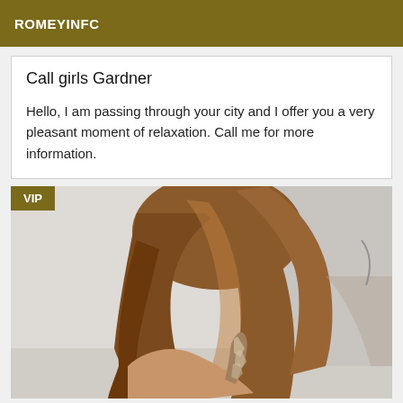ROMEYINFC
Call girls Gardner
Hello, I am passing through your city and I offer you a very pleasant moment of relaxation. Call me for more information.
[Figure (photo): Woman seen from behind with long reddish-brown hair, wearing a sparkly dress strap, against a light background. VIP badge in top left corner.]